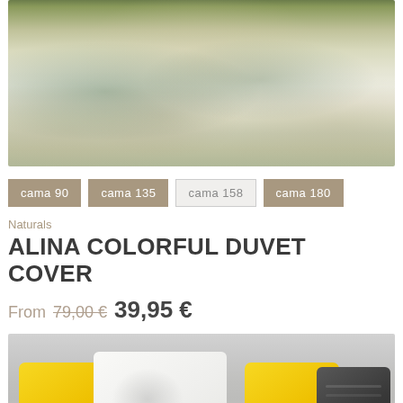[Figure (photo): Floral duvet cover on a bed, cream/beige background with green, teal and rust botanical leaf and bird motifs, green border at top]
cama 90
cama 135
cama 158
cama 180
Naturals
ALINA COLORFUL DUVET COVER
From 79,00€ 39,95€
[Figure (photo): Decorative cushions/pillows arranged on a sofa or bed: yellow pillows on left and right, white pillow with floral print in center, dark pillow on far right, grey background]